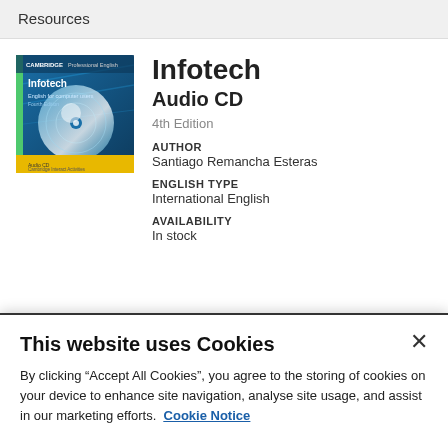Resources
[Figure (illustration): Book cover for Infotech Audio CD, 4th Edition by Cambridge Professional English. Blue cover with CD imagery and the Infotech title.]
Infotech
Audio CD
4th Edition
AUTHOR
Santiago Remancha Esteras
ENGLISH TYPE
International English
AVAILABILITY
In stock
This website uses Cookies
By clicking “Accept All Cookies”, you agree to the storing of cookies on your device to enhance site navigation, analyse site usage, and assist in our marketing efforts.  Cookie Notice